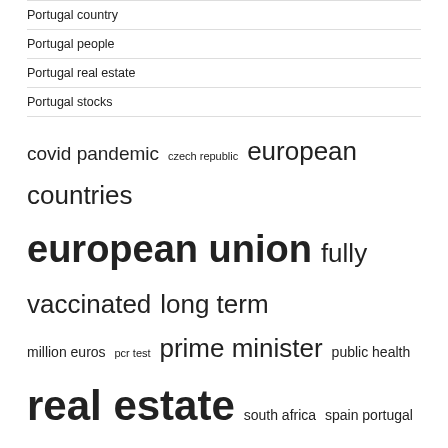Portugal country
Portugal people
Portugal real estate
Portugal stocks
[Figure (infographic): Tag cloud with terms: covid pandemic, czech republic, european countries, european union, fully vaccinated, long term, million euros, pcr test, prime minister, public health, real estate, south africa, spain portugal, united kingdom, united states — displayed in varying font sizes indicating frequency]
RECENT POSTS
The Golf Performance Center announces the winners of the 2022